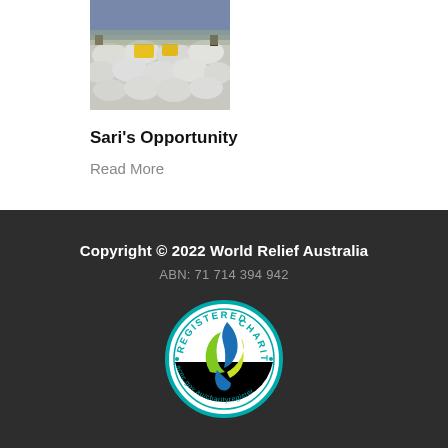[Figure (photo): Stacked white bags at a market or distribution point, with yellow labels visible on top]
Sari's Opportunity
Read More
Copyright © 2022 World Relief Australia
ABN: 71 714 394 942
[Figure (logo): ACNC Registered Charity logo — circular teal border with 'REGISTERED CHARITY' text and 'acnc.gov.au/charityregister' around the edge, with a stylized blue, green and yellow flame/leaf symbol in the center on white background]